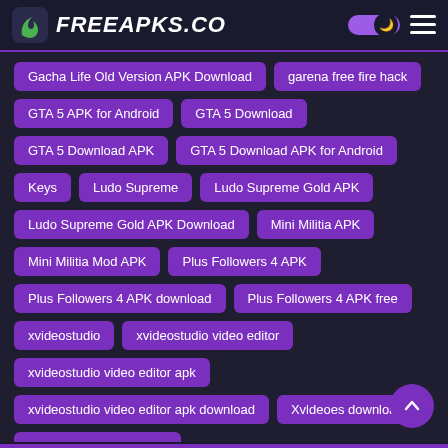FreeAPKs.CO
Gacha Life Old Version APK Download
garena free fire hack
GTA 5 APK for Android
GTA 5 Download
GTA 5 Download APK
GTA 5 Download APK for Android
Keys
Ludo Supreme
Ludo Supreme Gold APK
Ludo Supreme Gold APK Download
Mini Militia APK
Mini Militia Mod APK
Plus Followers 4 APK
Plus Followers 4 APK download
Plus Followers 4 APK free
xvideostudio
xvideostudio video editor
xvideostudio video editor apk
xvideostudio video editor apk download
Xvldeoes download
Xvldeoes free download